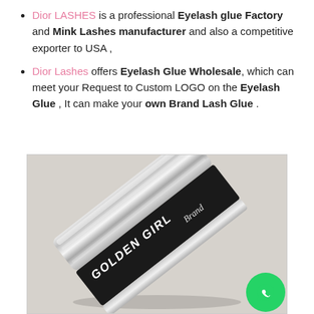Dior LASHES is a professional Eyelash glue Factory and Mink Lashes manufacturer and also a competitive exporter to USA ,
Dior Lashes offers Eyelash Glue Wholesale, which can meet your Request to Custom LOGO on the Eyelash Glue , It can make your own Brand Lash Glue .
[Figure (photo): Photo of a mascara/eyelash glue tube labeled 'GOLDEN GIRL Brand' with a silver metallic cap and black body, lying on a light grey surface. A WhatsApp icon button appears in the bottom-right corner.]